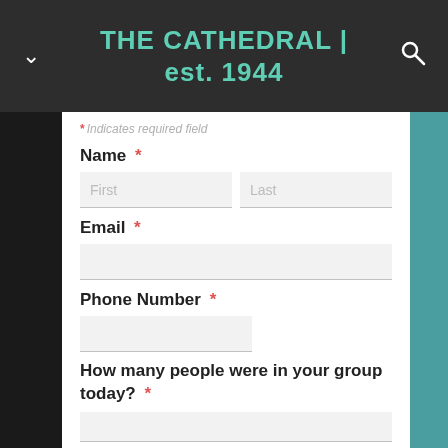THE CATHEDRAL | est. 1944
* Indicates required field
Name *
First
Last
Email *
Phone Number *
How many people were in your group today? *